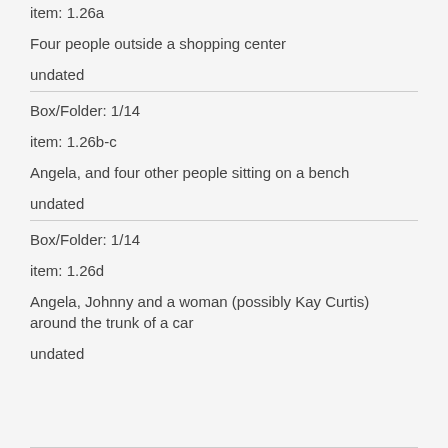item: 1.26a
Four people outside a shopping center
undated
Box/Folder: 1/14
item: 1.26b-c
Angela, and four other people sitting on a bench
undated
Box/Folder: 1/14
item: 1.26d
Angela, Johnny and a woman (possibly Kay Curtis) around the trunk of a car
undated